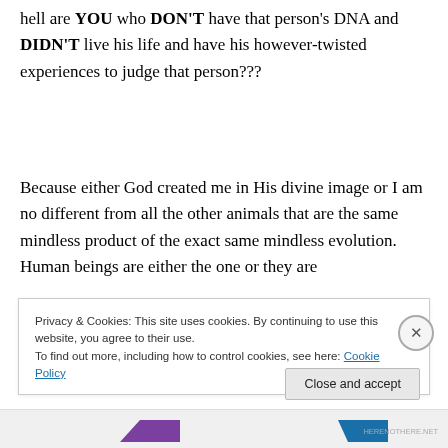hell are YOU who DON'T have that person's DNA and DIDN'T live his life and have his however-twisted experiences to judge that person???
Because either God created me in His divine image or I am no different from all the other animals that are the same mindless product of the exact same mindless evolution.  Human beings are either the one or they are
Privacy & Cookies: This site uses cookies. By continuing to use this website, you agree to their use.
To find out more, including how to control cookies, see here: Cookie Policy